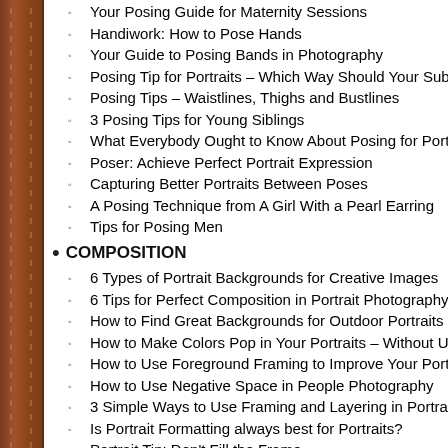Your Posing Guide for Maternity Sessions
Handiwork: How to Pose Hands
Your Guide to Posing Bands in Photography
Posing Tip for Portraits – Which Way Should Your Subject F…
Posing Tips – Waistlines, Thighs and Bustlines
3 Posing Tips for Young Siblings
What Everybody Ought to Know About Posing for Portraits
Poser: Achieve Perfect Portrait Expression
Capturing Better Portraits Between Poses
A Posing Technique from A Girl With a Pearl Earring
Tips for Posing Men
COMPOSITION
6 Types of Portrait Backgrounds for Creative Images
6 Tips for Perfect Composition in Portrait Photography
How to Find Great Backgrounds for Outdoor Portraits
How to Make Colors Pop in Your Portraits – Without Using…
How to Use Foreground Framing to Improve Your Portrait P…
How to Use Negative Space in People Photography
3 Simple Ways to Use Framing and Layering in Portraits
Is Portrait Formatting always best for Portraits?
Portrait Tip: Don't Fill the Frame
How to Use Portrait Angles More Creatively: A Visual Guide
How to Use Facial View and Camera Angle to take Flatterin…
GEAR